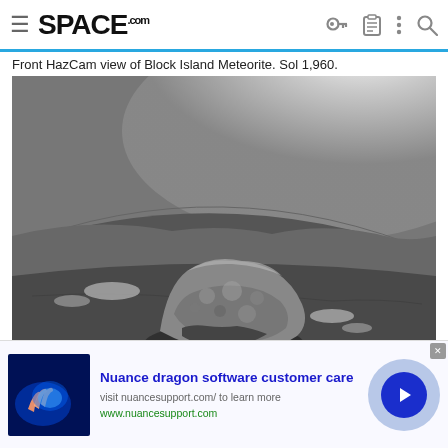SPACE.com
Front HazCam view of Block Island Meteorite. Sol 1,960.
[Figure (photo): Black and white Front HazCam image of the Block Island Meteorite on Mars surface at Sol 1,960. A large, irregularly-shaped rock sits on the flat, sandy Martian terrain. The fisheye lens view shows a wide panorama of the barren landscape with bright sky/glare in the upper portion.]
[Figure (infographic): Advertisement banner for Nuance dragon software customer care. Contains a blue-toned product image on the left, ad text in the center, and a circular arrow button on the right.]